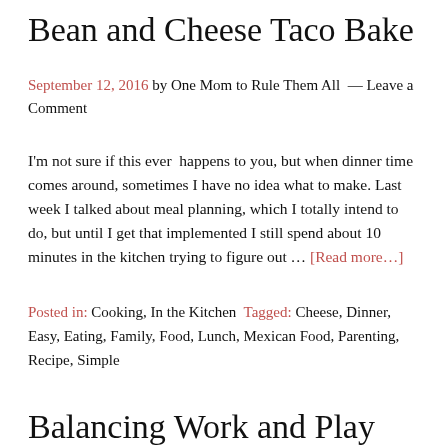Bean and Cheese Taco Bake
September 12, 2016 by One Mom to Rule Them All — Leave a Comment
I'm not sure if this ever  happens to you, but when dinner time comes around, sometimes I have no idea what to make. Last week I talked about meal planning, which I totally intend to do, but until I get that implemented I still spend about 10 minutes in the kitchen trying to figure out … [Read more...]
Posted in: Cooking, In the Kitchen Tagged: Cheese, Dinner, Easy, Eating, Family, Food, Lunch, Mexican Food, Parenting, Recipe, Simple
Balancing Work and Play